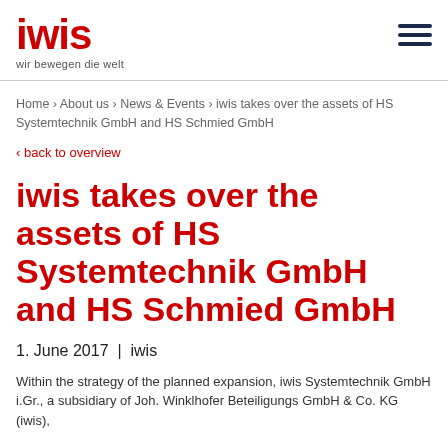iwis — wir bewegen die welt
Home › About us › News & Events › iwis takes over the assets of HS Systemtechnik GmbH and HS Schmied GmbH
‹ back to overview
iwis takes over the assets of HS Systemtechnik GmbH and HS Schmied GmbH
1. June 2017 | iwis
Within the strategy of the planned expansion, iwis Systemtechnik GmbH i.Gr., a subsidiary of Joh. Winklhofer Beteiligungs GmbH & Co. KG (iwis),